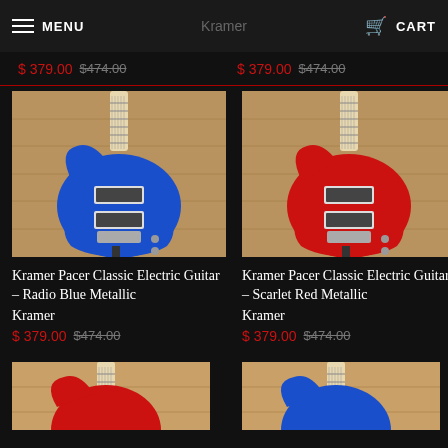MENU  Kramer  CART
$ 379.00  $474.00   $ 379.00  $474.00
[Figure (photo): Kramer Pacer Classic Electric Guitar in Radio Blue Metallic color, displayed on a guitar stand against a wood plank background]
Kramer Pacer Classic Electric Guitar – Radio Blue Metallic
Kramer
$ 379.00  $474.00
[Figure (photo): Kramer Pacer Classic Electric Guitar in Scarlet Red Metallic color, displayed on a guitar stand against a wood plank background]
Kramer Pacer Classic Electric Guitar – Scarlet Red Metallic
Kramer
$ 379.00  $474.00
[Figure (photo): Partial view of a red Kramer guitar (bottom row, left)]
[Figure (photo): Partial view of a blue Kramer guitar (bottom row, right)]